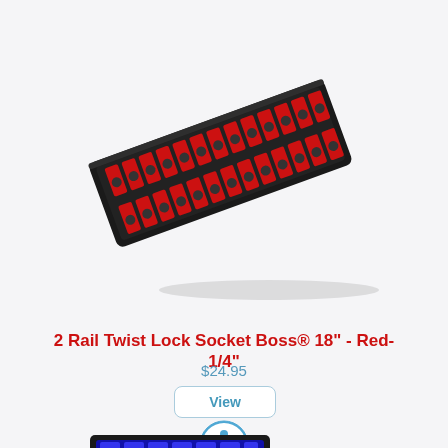[Figure (photo): 2 Rail Twist Lock Socket Boss product photo - a long black rail with red and dark grey socket holders arranged in two parallel rows, shown at a slight diagonal angle]
2 Rail Twist Lock Socket Boss® 18" - Red-1/4"
$24.95
View
[Figure (other): Accessibility icon - blue circle with white stick figure person symbol]